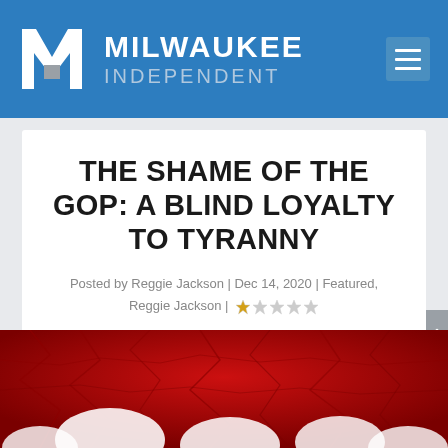MILWAUKEE INDEPENDENT
THE SHAME OF THE GOP: A BLIND LOYALTY TO TYRANNY
Posted by Reggie Jackson | Dec 14, 2020 | Featured, Reggie Jackson | ★☆☆☆☆
[Figure (photo): Abstract red cracked texture with white circular shapes at the bottom — article hero image]